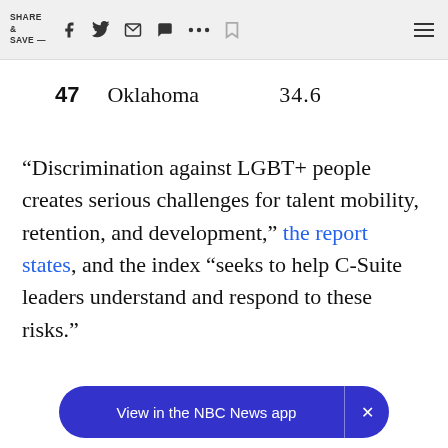SHARE & SAVE —
| Rank | State | Score |
| --- | --- | --- |
| 47 | Oklahoma | 34.6 |
“Discrimination against LGBT+ people creates serious challenges for talent mobility, retention, and development,” the report states, and the index “seeks to help C-Suite leaders understand and respond to these risks.”